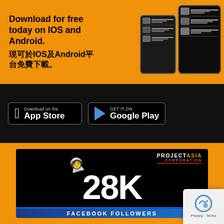[Figure (infographic): Orange banner advertisement showing 'Download for free today on IOS and Android. 現可於IOS及Android平台免費下載。' with phone mockups showing app screenshots]
[Figure (infographic): Black download bar with App Store and Google Play buttons]
[Figure (infographic): Orange banner with black card showing Project Asia Corporation logo, astronaut figure, large '28K' text, and 'FACEBOOK FOLLOWERS' text at bottom with blue earth]